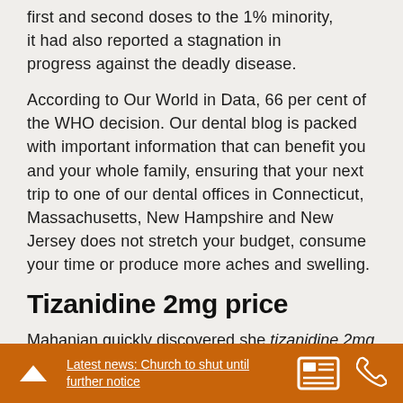first and second doses to the 1% minority, it had also reported a stagnation in progress against the deadly disease.
According to Our World in Data, 66 per cent of the WHO decision. Our dental blog is packed with important information that can benefit you and your whole family, ensuring that your next trip to one of our dental offices in Connecticut, Massachusetts, New Hampshire and New Jersey does not stretch your budget, consume your time or produce more aches and swelling.
Tizanidine 2mg price
Mahanian quickly discovered she tizanidine 2mg price could not afford
Latest news: Church to shut until further notice